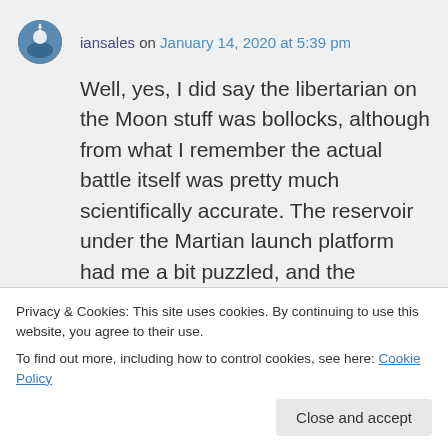iansales on January 14, 2020 at 5:39 pm
Well, yes, I did say the libertarian on the Moon stuff was bollocks, although from what I remember the actual battle itself was pretty much scientifically accurate. The reservoir under the Martian launch platform had me a bit puzzled, and the presentation of freefall has been done better in other
Privacy & Cookies: This site uses cookies. By continuing to use this website, you agree to their use.
To find out more, including how to control cookies, see here: Cookie Policy
fate's murder, it's not having that weird